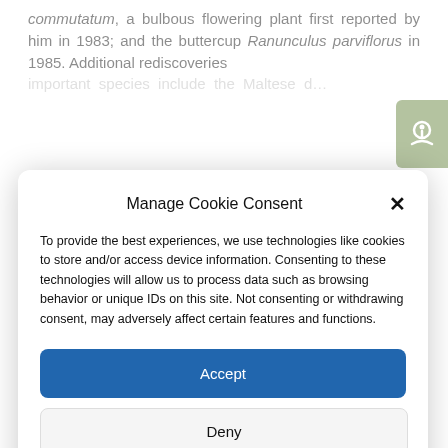commutatum, a bulbous flowering plant first reported by him in 1983; and the buttercup Ranunculus parviflorus in 1985. Additional rediscoveries important species include the Maltese d…
Manage Cookie Consent
To provide the best experiences, we use technologies like cookies to store and/or access device information. Consenting to these technologies will allow us to process data such as browsing behavior or unique IDs on this site. Not consenting or withdrawing consent, may adversely affect certain features and functions.
Accept
Deny
View preferences
Cookie Policy  Privacy Policy